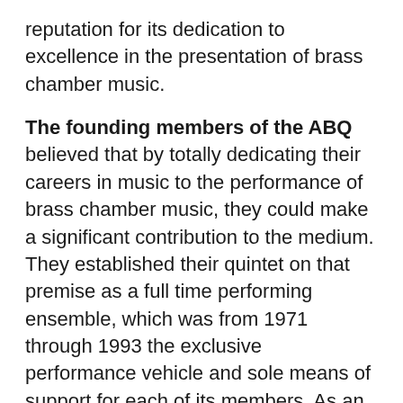reputation for its dedication to excellence in the presentation of brass chamber music.
The founding members of the ABQ believed that by totally dedicating their careers in music to the performance of brass chamber music, they could make a significant contribution to the medium. They established their quintet on that premise as a full time performing ensemble, which was from 1971 through 1993 the exclusive performance vehicle and sole means of support for each of its members. As an independent ensemble, the quintet members guided and governed all aspects of the group's activities.
The ABQ introduced brass chamber music to thousands of people all around the world, actively encouraged quintet performances by fellow brass players, expanded the repertoire